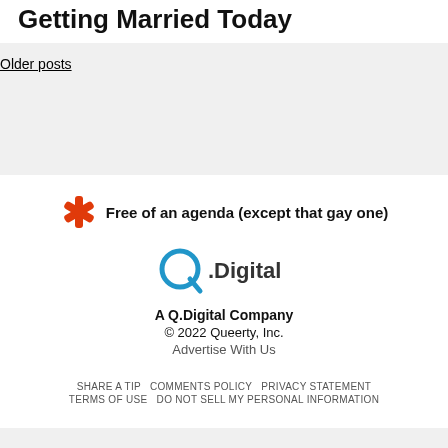Getting Married Today
Older posts
[Figure (logo): Red asterisk icon followed by bold text: Free of an agenda (except that gay one)]
[Figure (logo): Q.Digital logo - blue circle Q with .Digital text]
A Q.Digital Company
© 2022 Queerty, Inc.
Advertise With Us
SHARE A TIP   COMMENTS POLICY   PRIVACY STATEMENT   TERMS OF USE   DO NOT SELL MY PERSONAL INFORMATION